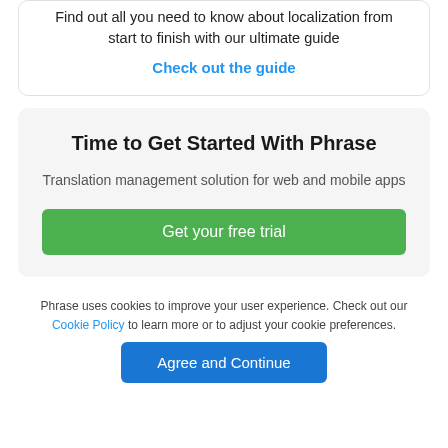Find out all you need to know about localization from start to finish with our ultimate guide
Check out the guide
Time to Get Started With Phrase
Translation management solution for web and mobile apps
Get your free trial
Phrase uses cookies to improve your user experience. Check out our Cookie Policy to learn more or to adjust your cookie preferences.
Agree and Continue